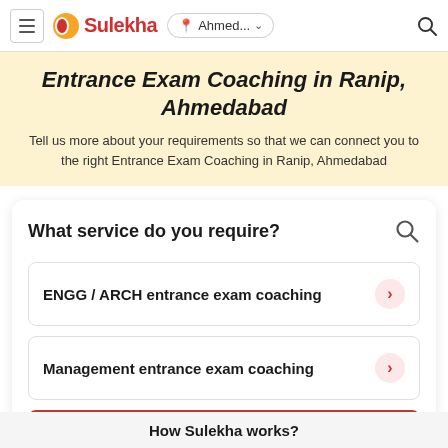Sulekha — Ahmed... (location) — Search
Entrance Exam Coaching in Ranip, Ahmedabad
Tell us more about your requirements so that we can connect you to the right Entrance Exam Coaching in Ranip, Ahmedabad
What service do you require?
ENGG / ARCH entrance exam coaching
Management entrance exam coaching
Get Started
How Sulekha works?